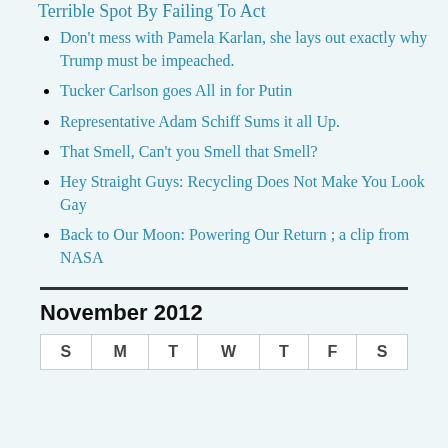Terrible Spot By Failing To Act
Don't mess with Pamela Karlan, she lays out exactly why Trump must be impeached.
Tucker Carlson goes All in for Putin
Representative Adam Schiff Sums it all Up.
That Smell, Can't you Smell that Smell?
Hey Straight Guys: Recycling Does Not Make You Look Gay
Back to Our Moon: Powering Our Return ; a clip from NASA
November 2012
| S | M | T | W | T | F | S |
| --- | --- | --- | --- | --- | --- | --- |